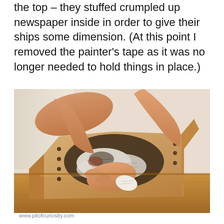the top – they stuffed crumpled up newspaper inside in order to give their ships some dimension. (At this point I removed the painter's tape as it was no longer needed to hold things in place.)
[Figure (photo): Child's hands stuffing crumpled newspaper inside a cardboard paper bag ship craft project on a wooden table]
www.pitofcuriosity.com